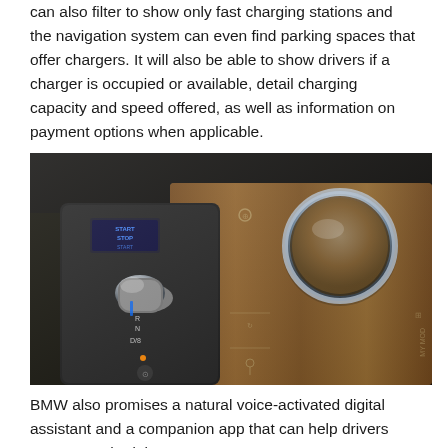can also filter to show only fast charging stations and the navigation system can even find parking spaces that offer chargers. It will also be able to show drivers if a charger is occupied or available, detail charging capacity and speed offered, as well as information on payment options when applicable.
[Figure (photo): Close-up interior photo of a BMW vehicle showing the center console with a chrome gear selector/shifter, START STOP button, wood trim panel with touch controls, and a large illuminated iDrive controller knob.]
BMW also promises a natural voice-activated digital assistant and a companion app that can help drivers manage, schedule